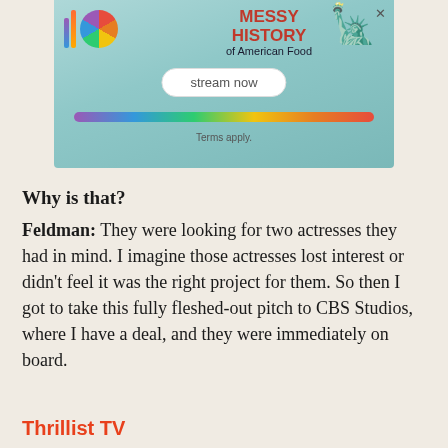[Figure (illustration): Advertisement banner for 'Messy History of American Food' streaming show. Features colorful vertical bars logo, a circular rainbow logo, Statue of Liberty graphic, red text title, 'stream now' button, rainbow color bar, and 'Terms apply.' text on teal gradient background.]
Why is that?
Feldman: They were looking for two actresses they had in mind. I imagine those actresses lost interest or didn't feel it was the right project for them. So then I got to take this fully fleshed-out pitch to CBS Studios, where I have a deal, and they were immediately on board.
Thrillist TV